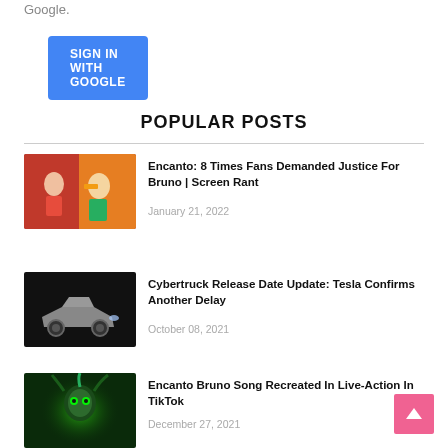Google.
[Figure (screenshot): Blue 'SIGN IN WITH GOOGLE' button]
POPULAR POSTS
[Figure (photo): Encanto movie scene with two female characters in colorful dresses]
Encanto: 8 Times Fans Demanded Justice For Bruno | Screen Rant
January 21, 2022
[Figure (photo): Tesla Cybertruck on dark background]
Cybertruck Release Date Update: Tesla Confirms Another Delay
October 08, 2021
[Figure (photo): Encanto Bruno character with green glowing eyes]
Encanto Bruno Song Recreated In Live-Action In TikTok
December 27, 2021